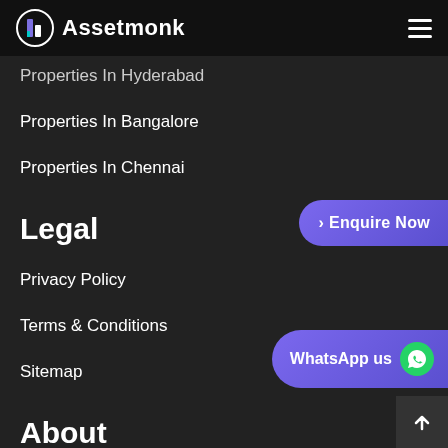Assetmonk
Properties In Hyderabad
Properties In Bangalore
Properties In Chennai
Legal
Privacy Policy
Terms & Conditions
Sitemap
About
About Us